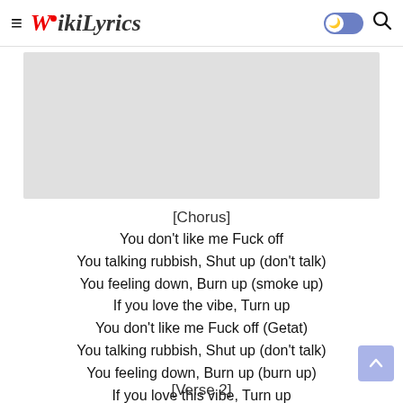WikiLyrics
[Figure (other): Gray advertisement/image placeholder rectangle]
[Chorus]
You don't like me Fuck off
You talking rubbish, Shut up (don't talk)
You feeling down, Burn up (smoke up)
If you love the vibe, Turn up
You don't like me Fuck off (Getat)
You talking rubbish, Shut up (don't talk)
You feeling down, Burn up (burn up)
If you love this vibe, Turn up
[Verse 2]